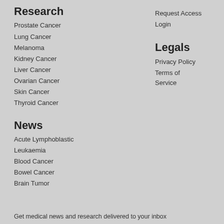Research
Prostate Cancer
Lung Cancer
Melanoma
Kidney Cancer
Liver Cancer
Ovarian Cancer
Skin Cancer
Thyroid Cancer
Request Access
Login
Legals
Privacy Policy
Terms of Service
News
Acute Lymphoblastic Leukaemia
Blood Cancer
Bowel Cancer
Brain Tumor
Get medical news and research delivered to your inbox